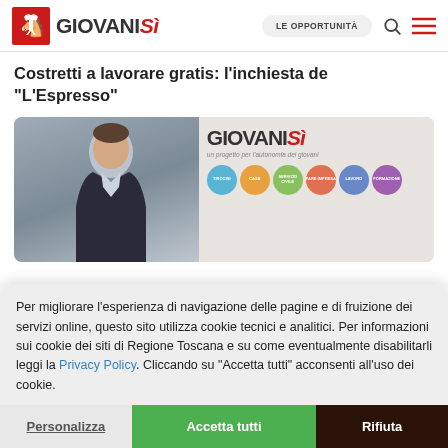Giovanisì — LE OPPORTUNITÀ
Costretti a lavorare gratis: l'inchiesta de "L'Espresso"
[Figure (photo): Photo of a man in a dark jacket smiling, beside a GiovaniSì banner showing colored circles for Tirocini, Casa, Servizio Civile, Fare Impresa, Lavoro, Formazione]
Per migliorare l'esperienza di navigazione delle pagine e di fruizione dei servizi online, questo sito utilizza cookie tecnici e analitici. Per informazioni sui cookie dei siti di Regione Toscana e su come eventualmente disabilitarli leggi la Privacy Policy. Cliccando su "Accetta tutti" acconsenti all'uso dei cookie.